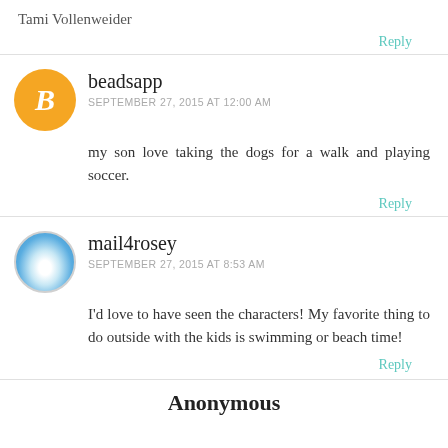Tami Vollenweider
Reply
beadsapp
SEPTEMBER 27, 2015 AT 12:00 AM
my son love taking the dogs for a walk and playing soccer.
Reply
mail4rosey
SEPTEMBER 27, 2015 AT 8:53 AM
I'd love to have seen the characters! My favorite thing to do outside with the kids is swimming or beach time!
Reply
Anonymous